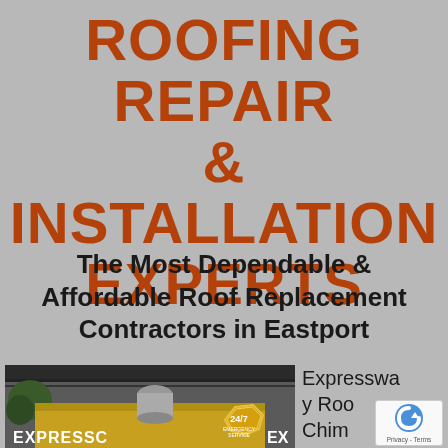ROOFING REPAIR & INSTALLATION EXPERTS
The Most Dependable & Affordable Roof Replacement Contractors in Eastport
[Figure (photo): Photo of an Expressway Roofing truck/vehicle with a gold and black design, showing rooftop equipment and a 24/7 emergency service badge]
Expressway Roo Chim